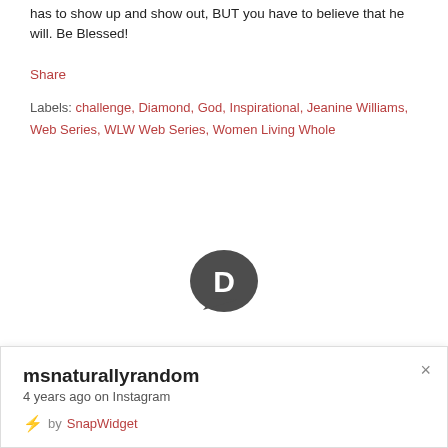has to show up and show out, BUT you have to believe that he will. Be Blessed!
Share
Labels: challenge, Diamond, God, Inspirational, Jeanine Williams, Web Series, WLW Web Series, Women Living Whole
[Figure (logo): Disqus logo: dark grey speech bubble with white letter D inside]
msnaturallyrandom
4 years ago on Instagram
by SnapWidget